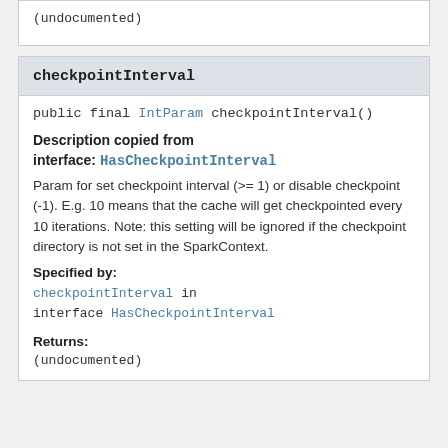(undocumented)
checkpointInterval
public final IntParam checkpointInterval()
Description copied from interface: HasCheckpointInterval
Param for set checkpoint interval (&gt;= 1) or disable checkpoint (-1). E.g. 10 means that the cache will get checkpointed every 10 iterations. Note: this setting will be ignored if the checkpoint directory is not set in the SparkContext.
Specified by:
checkpointInterval in interface HasCheckpointInterval
Returns:
(undocumented)